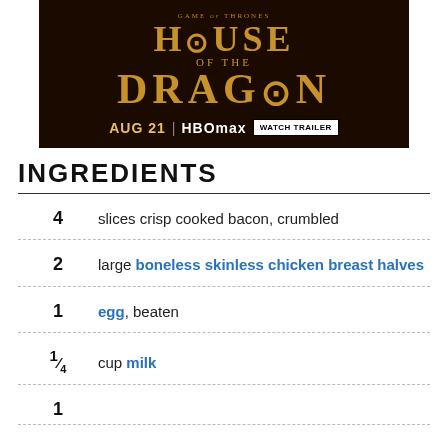[Figure (illustration): Advertisement banner for 'House of the Dragon' (Game of Thrones) on HBO Max. Dark background with text: GAME OF THRONES / HOUSE OF THE DRAGON / AUG 21 | HBO max | WATCH TRAILER button.]
INGREDIENTS
4   slices crisp cooked bacon, crumbled
2   large boneless skinless chicken breast halves
1   egg, beaten
1/4   cup milk
1   ...